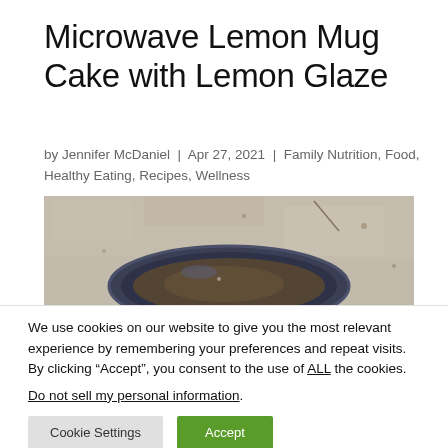Microwave Lemon Mug Cake with Lemon Glaze
by Jennifer McDaniel | Apr 27, 2021 | Family Nutrition, Food, Healthy Eating, Recipes, Wellness
[Figure (photo): Close-up photo of the top of a dark blue mug containing lemon mug cake, on a stone/concrete background.]
We use cookies on our website to give you the most relevant experience by remembering your preferences and repeat visits. By clicking “Accept”, you consent to the use of ALL the cookies.
Do not sell my personal information.